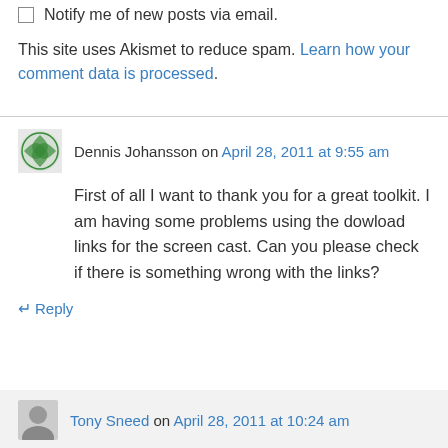Notify me of new posts via email.
This site uses Akismet to reduce spam. Learn how your comment data is processed.
Dennis Johansson on April 28, 2011 at 9:55 am
First of all I want to thank you for a great toolkit. I am having some problems using the dowload links for the screen cast. Can you please check if there is something wrong with the links?
Reply
Tony Sneed on April 28, 2011 at 10:24 am